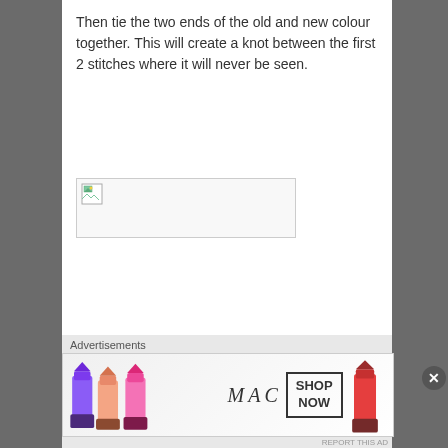Then tie the two ends of the old and new colour together. This will create a knot between the first 2 stitches where it will never be seen.
[Figure (photo): Broken/unloaded image placeholder with image icon in top-left corner]
Advertisements
[Figure (photo): MAC cosmetics advertisement banner showing lipsticks in purple, pink, peach colors with MAC logo and SHOP NOW button]